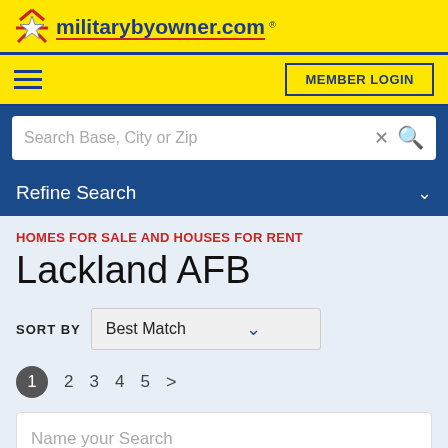[Figure (logo): militarybyowner.com logo with star graphic on yellow background]
MEMBER LOGIN
Search Base, City or Zip
Refine Search
HOMES FOR SALE AND HOUSES FOR RENT
Lackland AFB
SORT BY  Best Match
1  2  3  4  5  >
Name your Search